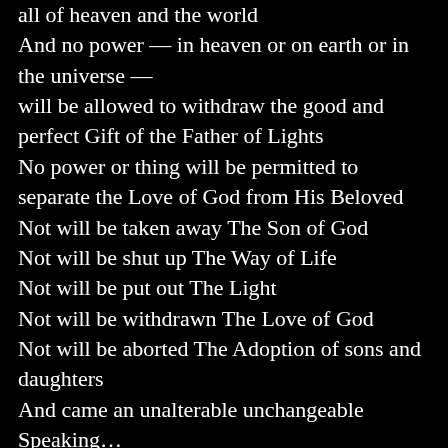all of heaven and the world
And no power — in heaven or on earth or in the universe —
will be allowed to withdraw the good and perfect Gift of the Father of Lights
No power or thing will be permitted to separate the Love of God from His Beloved
Not will be taken away The Son of God
Not will be shut up The Way of Life
Not will be put out The Light
Not will be withdrawn The Love of God
Not will be aborted The Adoption of sons and daughters
And came an unalterable unchangeable Speaking…
Indestructible Life reanimated, the Son of God